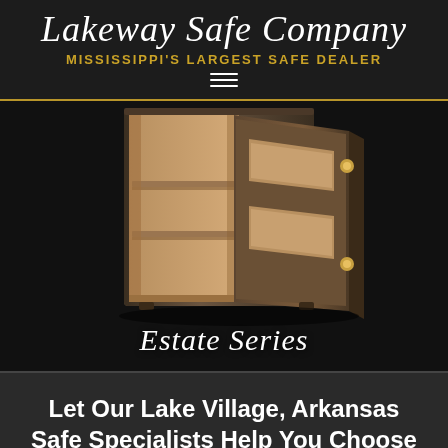Lakeway Safe Company
MISSISSIPPI'S LARGEST SAFE DEALER
[Figure (photo): Open bronze/brown safe with shelves visible inside and door open showing interior compartments, displayed against black background. Below the safe is the text 'Estate Series' in italic script.]
Let Our Lake Village, Arkansas Safe Specialists Help You Choose